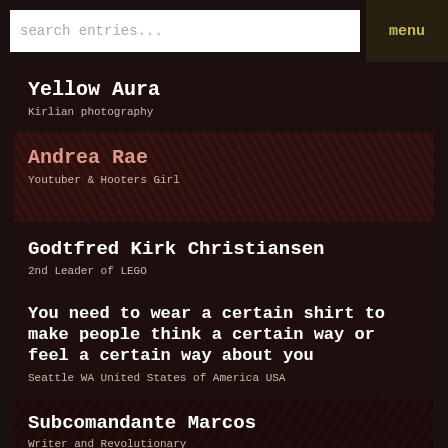search entries... | menu
Yellow Aura
Kirlian photography
Andrea Rae
Youtuber & Hooters Girl
Godtfred Kirk Christiansen
2nd Leader of LEGO
You need to wear a certain shirt to make people think a certain way or feel a certain way about you
Seattle WA United States of America USA
Subcomandante Marcos
Writer and Revolutionary